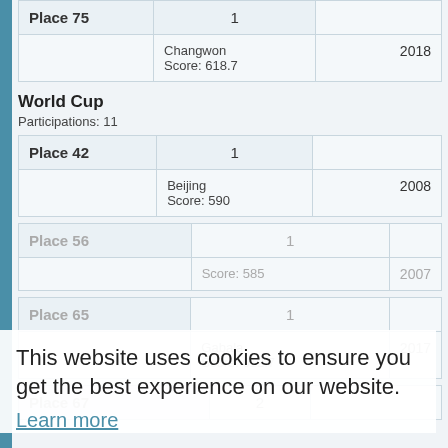| Place 75 | 1 |  |
| --- | --- | --- |
|  | Changwon
Score: 618.7 | 2018 |
World Cup
Participations: 11
| Place 42 | 1 |  |
| --- | --- | --- |
|  | Beijing
Score: 590 | 2008 |
| Place 56 | 1 |  |
| --- | --- | --- |
|  | Score: 585 | 2007 |
| Place 65 | 1 |  |
| --- | --- | --- |
|  | Gabala
Score: 612.7 | 2017 |
| Place 67 | 2 |  |
| --- | --- | --- |
This website uses cookies to ensure you get the best experience on our website.
Learn more
Got it!